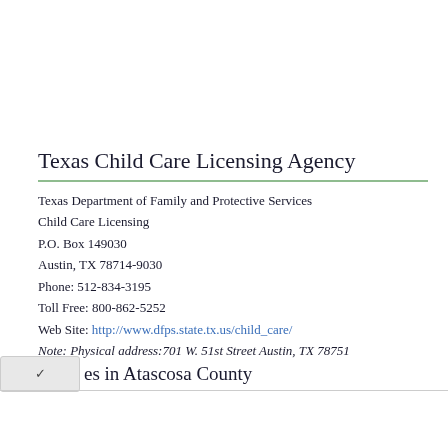Texas Child Care Licensing Agency
Texas Department of Family and Protective Services
Child Care Licensing
P.O. Box 149030
Austin, TX 78714-9030
Phone: 512-834-3195
Toll Free: 800-862-5252
Web Site: http://www.dfps.state.tx.us/child_care/
Note: Physical address:701 W. 51st Street Austin, TX 78751
Cities in Atascosa County